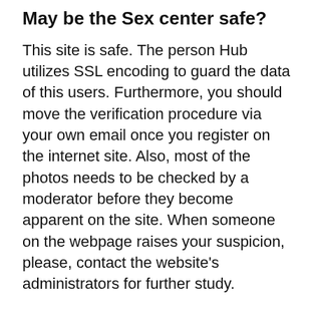May be the Sex center safe?
This site is safe. The person Hub utilizes SSL encoding to guard the data of this users. Furthermore, you should move the verification procedure via your own email once you register on the internet site. Also, most of the photos needs to be checked by a moderator before they become apparent on the site. When someone on the webpage raises your suspicion, please, contact the website's administrators for further study.
Will be the Sex center a genuine matchmaking site?
The Xxx Hub is a real relationship program. It